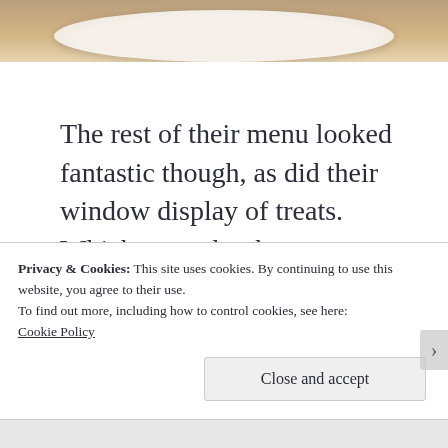[Figure (photo): Top portion of a food photo showing a white plate with a dessert item, on a wooden table background. Only the bottom edge of the photo is visible.]
The rest of their menu looked fantastic though, as did their window display of treats. Which was why the very next day when I happened to be back on Crown Street, I couldn’t resist sneaking back there for a rocky road meringue.
Privacy & Cookies: This site uses cookies. By continuing to use this website, you agree to their use.
To find out more, including how to control cookies, see here: Cookie Policy
Close and accept